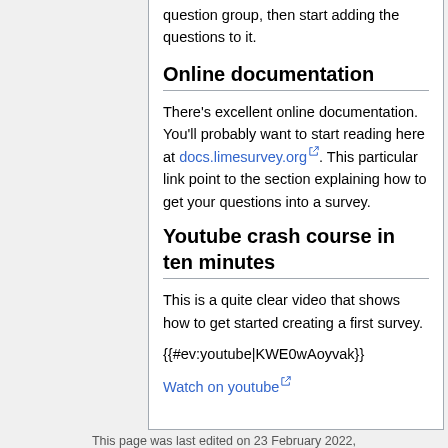question group, then start adding the questions to it.
Online documentation
There's excellent online documentation. You'll probably want to start reading here at docs.limesurvey.org. This particular link point to the section explaining how to get your questions into a survey.
Youtube crash course in ten minutes
This is a quite clear video that shows how to get started creating a first survey.
{{#ev:youtube|KWE0wAoyvak}}
Watch on youtube
This page was last edited on 23 February 2022,